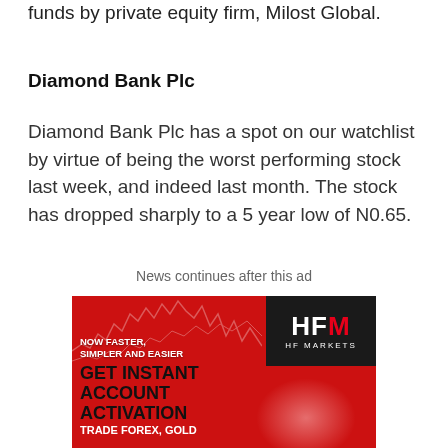funds by private equity firm, Milost Global.
Diamond Bank Plc
Diamond Bank Plc has a spot on our watchlist by virtue of being the worst performing stock last week, and indeed last month. The stock has dropped sharply to a 5 year low of N0.65.
News continues after this ad
[Figure (advertisement): HFM (HF Markets) advertisement with red background. Logo shows 'HFM' with red M on black box, tagline 'NOW FASTER, SIMPLER AND EASIER', main text 'GET INSTANT ACCOUNT ACTIVATION', bottom text 'TRADE FOREX, GOLD']